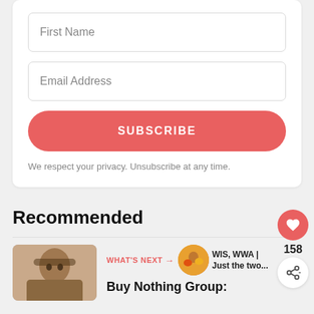First Name
Email Address
SUBSCRIBE
We respect your privacy. Unsubscribe at any time.
Recommended
158
WHAT'S NEXT → WIS, WWA | Just the two...
Buy Nothing Group: